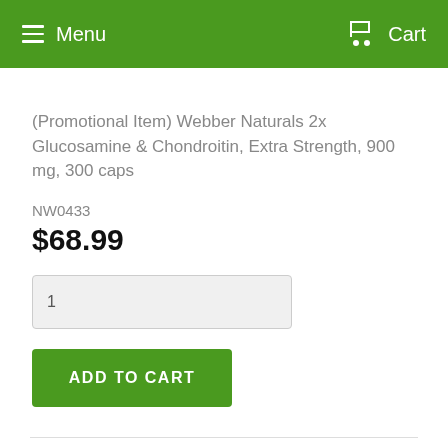Menu  Cart
(Promotional Item) Webber Naturals 2x Glucosamine & Chondroitin, Extra Strength, 900 mg, 300 caps
NW0433
$68.99
1
ADD TO CART